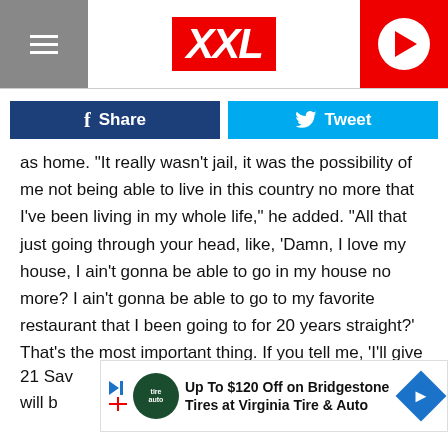XXL
[Figure (screenshot): Facebook Share and Twitter Tweet buttons]
as home. "It really wasn't jail, it was the possibility of me not being able to live in this country no more that I've been living in my whole life," he added. "All that just going through your head, like, 'Damn, I love my house, I ain't gonna be able to go in my house no more? I ain't gonna be able to go to my favorite restaurant that I been going to for 20 years straight?' That's the most important thing. If you tell me, 'I'll give you 20 million to go stay somewhere you ain't never stayed," I'd rather be broke. I'll sit in jail to fight to live where I've been living my whole life.'"
[Figure (screenshot): Ad banner: Up To $120 Off on Bridgestone Tires at Virginia Tire & Auto]
21 Sav... f he will b...